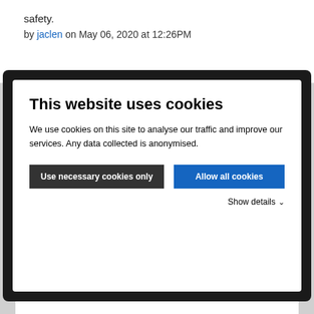safety.
by jaclen on May 06, 2020 at 12:26PM
This website uses cookies
We use cookies on this site to analyse our traffic and improve our services. Any data collected is anonymised.
Use necessary cookies only
Allow all cookies
Show details
Based on: 0 votes
Share
[Figure (illustration): Twitter and Facebook share icons]